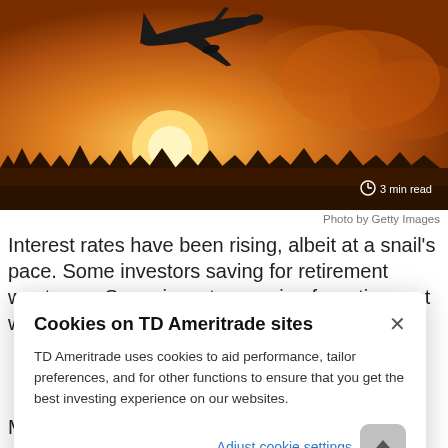[Figure (photo): Airplane taking off at sunset with golden sky and clouds in background, runway visible below]
Photo by Getty Images
Interest rates have been rising, albeit at a snail's pace. Some investors saving for retirement want
Cookies on TD Ameritrade sites

TD Ameritrade uses cookies to aid performance, tailor preferences, and for other functions to ensure that you get the best investing experience on our websites.

Adjust cookie settings
Meet the Makers of My Ameritrade Do...